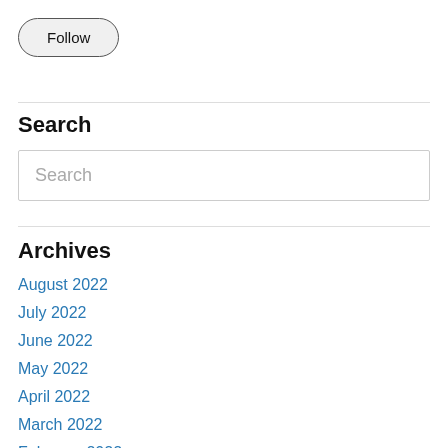Follow
Search
Search
Archives
August 2022
July 2022
June 2022
May 2022
April 2022
March 2022
February 2022